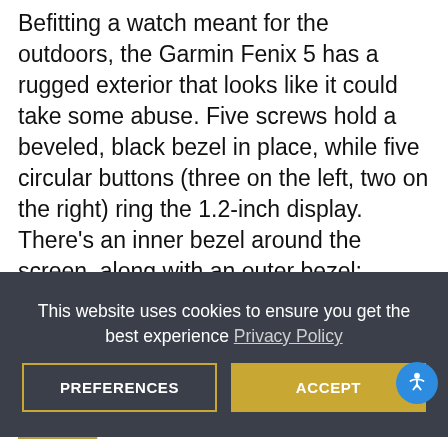Befitting a watch meant for the outdoors, the Garmin Fenix 5 has a rugged exterior that looks like it could take some abuse. Five screws hold a beveled, black bezel in place, while five circular buttons (three on the left, two on the right) ring the 1.2-inch display. There's an inner bezel around the screen, along with an outer bezel; together, they measure nearly half an inch, though that's mitigated visually by the design. When you get right down to it, it's tough to find an activity that the Fenix 5 can't track! What's also an asset is its overall size and weight. Wearing the Fenix 5 it never
This website uses cookies to ensure you get the best experience Privacy Policy
PREFERENCES
ACCEPT
sunlight to make the screen brighter. I never